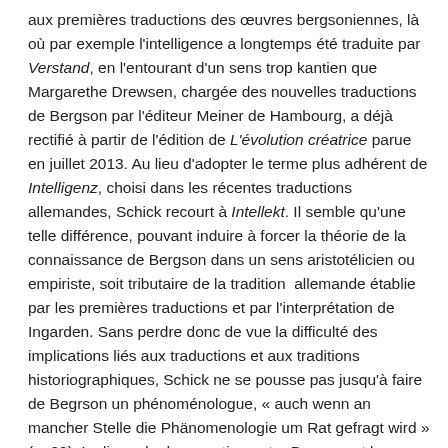aux premières traductions des œuvres bergsoniennes, là où par exemple l'intelligence a longtemps été traduite par Verstand, en l'entourant d'un sens trop kantien que Margarethe Drewsen, chargée des nouvelles traductions de Bergson par l'éditeur Meiner de Hambourg, a déjà rectifié à partir de l'édition de L'évolution créatrice parue en juillet 2013. Au lieu d'adopter le terme plus adhérent de Intelligenz, choisi dans les récentes traductions allemandes, Schick recourt à Intellekt. Il semble qu'une telle différence, pouvant induire à forcer la théorie de la connaissance de Bergson dans un sens aristotélicien ou empiriste, soit tributaire de la tradition allemande établie par les premières traductions et par l'interprétation de Ingarden. Sans perdre donc de vue la difficulté des implications liés aux traductions et aux traditions historiographiques, Schick ne se pousse pas jusqu'à faire de Begrson un phénoménologue, « auch wenn an mancher Stelle die Phänomenologie um Rat gefragt wird » (p. 29). La ligne de demarcation entre Bergson et la phénoménologie étant celle qui le plus a conditionné la